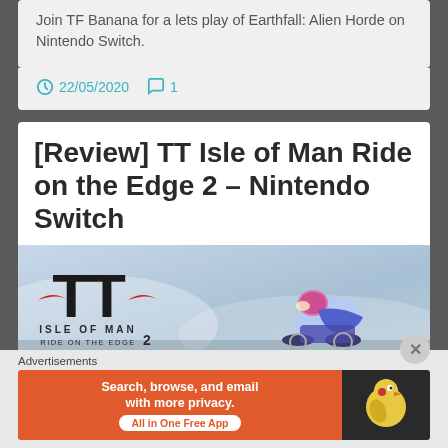Join TF Banana for a lets play of Earthfall: Alien Horde on Nintendo Switch.
22/05/2020  1
[Review] TT Isle of Man Ride on the Edge 2 – Nintendo Switch
[Figure (photo): TT Isle of Man Ride on the Edge 2 game banner showing TT logo on left and motorcycle racer on right against sky background]
Advertisements
[Figure (infographic): DuckDuckGo advertisement banner: orange left side with text 'Search, browse, and email with more privacy. All in One Free App', dark right side with DuckDuckGo duck logo]